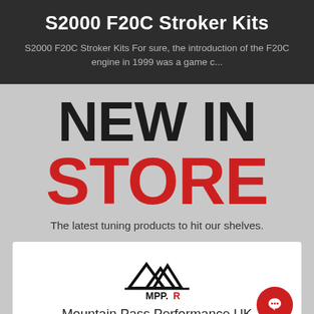S2000 F20C Stroker Kits
S2000 F20C Stroker Kits For sure, the introduction of the F20C engine in 1999 was a game c...
NEW IN STORE
The latest tuning products to hit our shelves.
[Figure (logo): MPP.R mountain pass logo with mountain peak icon above text]
Mountain Pass Performance UK